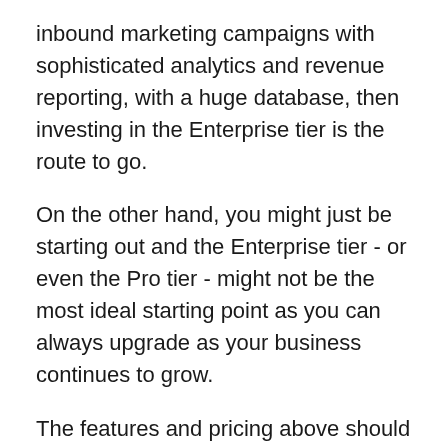inbound marketing campaigns with sophisticated analytics and revenue reporting, with a huge database, then investing in the Enterprise tier is the route to go.
On the other hand, you might just be starting out and the Enterprise tier - or even the Pro tier - might not be the most ideal starting point as you can always upgrade as your business continues to grow.
The features and pricing above should help to make your decision slightly easier. Choosing the right HubSpot package for your company, however, does boil down to a few key factors.